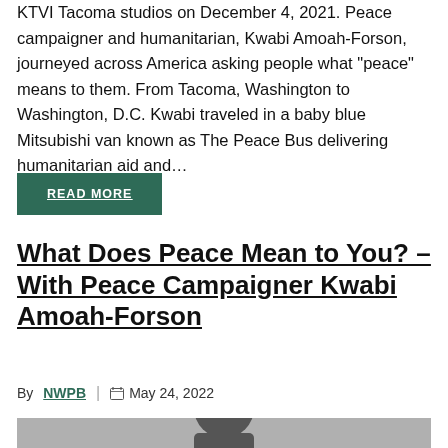KTVI Tacoma studios on December 4, 2021. Peace campaigner and humanitarian, Kwabi Amoah-Forson, journeyed across America asking people what "peace" means to them. From Tacoma, Washington to Washington, D.C. Kwabi traveled in a baby blue Mitsubishi van known as The Peace Bus delivering humanitarian aid and...
READ MORE
What Does Peace Mean to You? – With Peace Campaigner Kwabi Amoah-Forson
By NWPB | May 24, 2022
[Figure (photo): Photo of a person, partially visible, appears to be wearing headphones, dark background.]